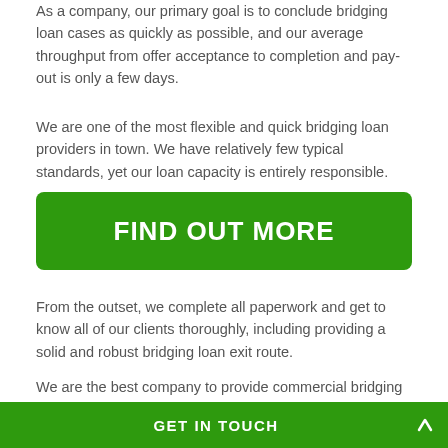As a company, our primary goal is to conclude bridging loan cases as quickly as possible, and our average throughput from offer acceptance to completion and pay-out is only a few days.
We are one of the most flexible and quick bridging loan providers in town. We have relatively few typical standards, yet our loan capacity is entirely responsible.
FIND OUT MORE
From the outset, we complete all paperwork and get to know all of our clients thoroughly, including providing a solid and robust bridging loan exit route.
We are the best company to provide commercial bridging loans in Ardleigh Green and we can attend to your enquiries immediately if you are interested.
GET IN TOUCH